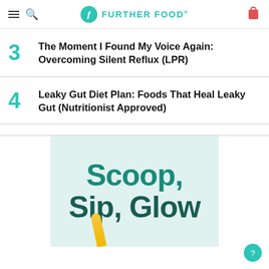Further Food
3 The Moment I Found My Voice Again: Overcoming Silent Reflux (LPR)
4 Leaky Gut Diet Plan: Foods That Heal Leaky Gut (Nutritionist Approved)
[Figure (illustration): Advertisement banner showing 'Scoop, Sip, Glow' text on a teal/mint background]